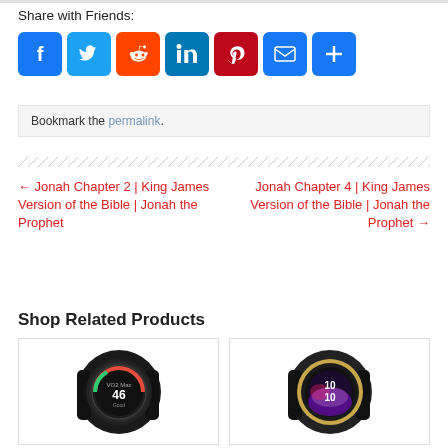Share with Friends:
[Figure (other): Social share icons: Facebook, Twitter, Reddit, LinkedIn, Pinterest, Email, Share]
Bookmark the permalink.
← Jonah Chapter 2 | King James Version of the Bible | Jonah the Prophet
Jonah Chapter 4 | King James Version of the Bible | Jonah the Prophet →
Shop Related Products
[Figure (photo): Garmin smartwatch with black band showing VO2 Max 46 on screen]
[Figure (photo): Gold-bezel smartwatch with black band showing time 10:10 on colorful screen]